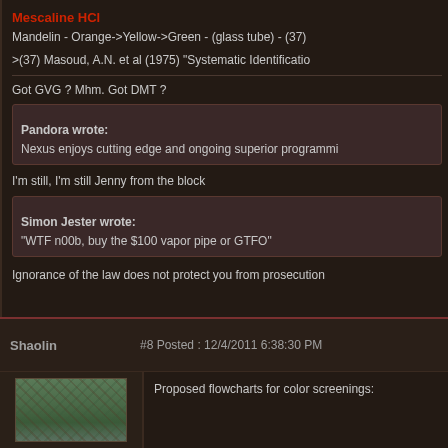Mescaline HCl
Mandelin - Orange->Yellow->Green - (glass tube) - (37)
>(37) Masoud, A.N. et al (1975) "Systematic Identificatio
Got GVG ? Mhm. Got DMT ?
Pandora wrote:
Nexus enjoys cutting edge and ongoing superior programmi
I'm still, I'm still Jenny from the block
Simon Jester wrote:
"WTF n00b, buy the $100 vapor pipe or GTFO"
Ignorance of the law does not protect you from prosecution
Shaolin   #8 Posted : 12/4/2011 6:38:30 PM
Proposed flowcharts for color screenings: